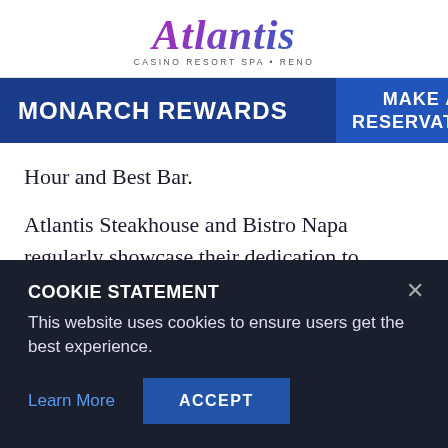[Figure (logo): Atlantis Casino Resort Spa • Reno logo with stylized italic text in purple-to-blue gradient]
MONARCH REWARDS | MAKE A RESERVATION
Hour and Best Bar.
Atlantis Steakhouse and Bistro Napa regularly showcase their dedication to creative fine dining with their popular Winemaker Dinner Series designed to pair
COOKIE STATEMENT
This website uses cookies to ensure users get the best experience.
Learn More   ACCEPT